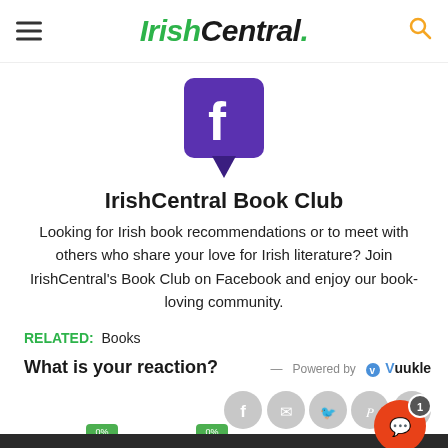IrishCentral.
[Figure (logo): Facebook group icon — purple rounded square with white letter f and downward pointing speech bubble tail]
IrishCentral Book Club
Looking for Irish book recommendations or to meet with others who share your love for Irish literature? Join IrishCentral's Book Club on Facebook and enjoy our book-loving community.
RELATED: Books
What is your reaction? Powered by Vuukle
[Figure (infographic): Social share buttons row: Facebook, email, Twitter, Pinterest, WhatsApp, plus sign — circular grey buttons. Below: emoji reaction icons with 0% labels in green/grey badges. Dark footer bar with floating red chat button showing badge with '1'.]